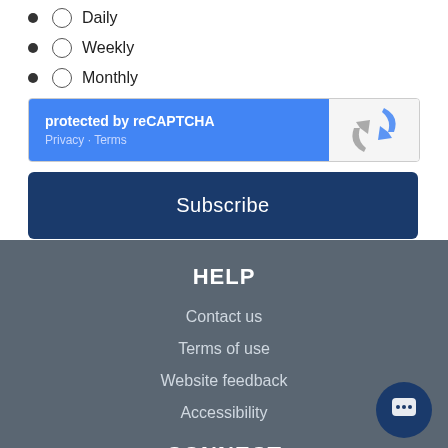Daily
Weekly
Monthly
[Figure (screenshot): reCAPTCHA widget with blue left panel showing 'protected by reCAPTCHA' and Privacy/Terms links, and grey right panel with reCAPTCHA logo]
Subscribe
HELP
Contact us
Terms of use
Website feedback
Accessibility
CONNECT